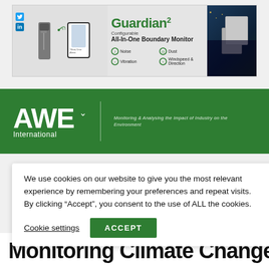[Figure (advertisement): Guardian2 Configurable All-In-One Boundary Monitor advertisement banner. Features monitoring device pole, smartphone display, features list: Noise, Dust, Vibration, Windspeed & Direction. City background on right. Twitter and LinkedIn social icons on left.]
[Figure (logo): AWE International website navigation bar with green background. Large white 'AWE' text with 'International' below. Vertical divider line. Tagline: 'Monitoring & Analysing the Impact of Industry on the Environment']
We use cookies on our website to give you the most relevant experience by remembering your preferences and repeat visits. By clicking “Accept”, you consent to the use of ALL the cookies.
Cookie settings
ACCEPT
Monitoring Climate Change